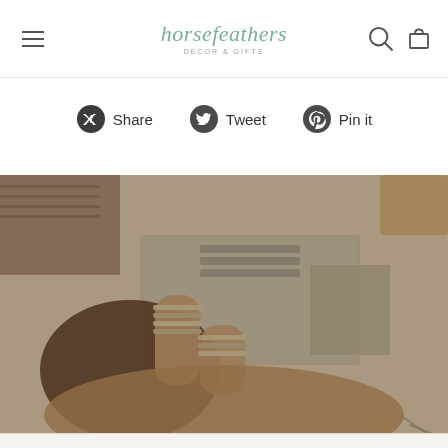horsefeathers — decor & gifts
Share  Tweet  Pin it
[Figure (photo): Overhead view of a person with stacked bead bracelets working on a jewelry-making tray with organized beads and tools on a white table]